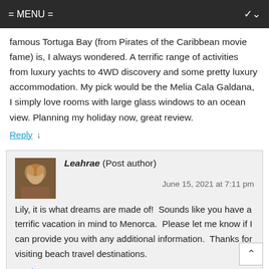= MENU =
famous Tortuga Bay (from Pirates of the Caribbean movie fame) is, I always wondered. A terrific range of activities from luxury yachts to 4WD discovery and some pretty luxury accommodation. My pick would be the Melia Cala Galdana, I simply love rooms with large glass windows to an ocean view. Planning my holiday now, great review.
Reply ↓
Leahrae (Post author)
June 15, 2021 at 7:11 pm

Lily, it is what dreams are made of!  Sounds like you have a terrific vacation in mind to Menorca.  Please let me know if I can provide you with any additional information.  Thanks for visiting beach travel destinations.
Reply ↓